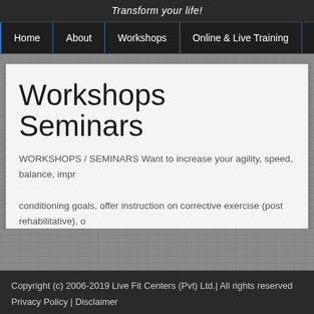Transform your life!
Home | About | Workshops | Online & Live Training | Affilia
Workshops Seminars
WORKSHOPS / SEMINARS Want to increase your agility, speed, balance, impr conditioning goals, offer instruction on corrective exercise (post rehabilitative), o
Post | Comments Off
Copyright (c) 2006-2019 Live Fit Centers (Pvt) Ltd.| All rights reserved
Privacy Policy | Disclaimer